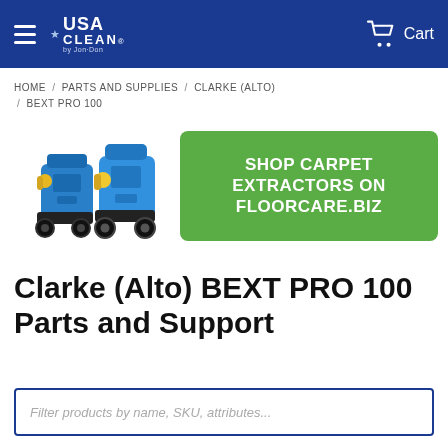USA CLEAN by Jon-Don — Cart
HOME / PARTS AND SUPPLIES / CLARKE (ALTO) / BEXT PRO 100
[Figure (photo): Two blue Clarke BEXT PRO 100 carpet extractor machines side by side]
[Figure (infographic): Green button: SHOP CARPET EXTRACTORS ON FLOORCARE.BIZ]
Clarke (Alto) BEXT PRO 100 Parts and Support
Filter products by name, SKU, attributes...